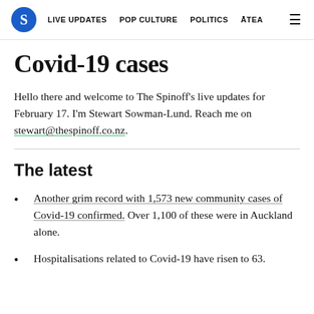S | LIVE UPDATES | POP CULTURE | POLITICS | ĀTEA
Covid-19 cases
Hello there and welcome to The Spinoff's live updates for February 17. I'm Stewart Sowman-Lund. Reach me on stewart@thespinoff.co.nz.
The latest
Another grim record with 1,573 new community cases of Covid-19 confirmed. Over 1,100 of these were in Auckland alone.
Hospitalisations related to Covid-19 have risen to 63.